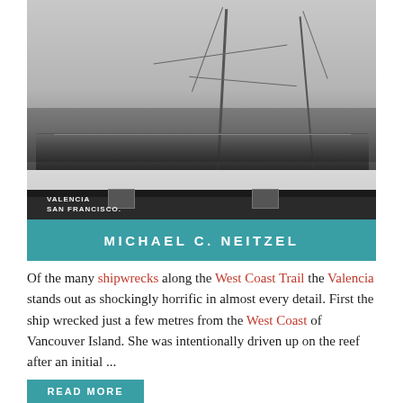[Figure (photo): Black and white historical photograph of the steamship Valencia with crowds of passengers on deck and rigging. The ship's name 'VALENCIA SAN FRANCISCO' is visible on the hull. A teal banner at the bottom reads 'MICHAEL C. NEITZEL'.]
Of the many shipwrecks along the West Coast Trail the Valencia stands out as shockingly horrific in almost every detail. First the ship wrecked just a few metres from the West Coast of Vancouver Island. She was intentionally driven up on the reef after an initial ...
READ MORE